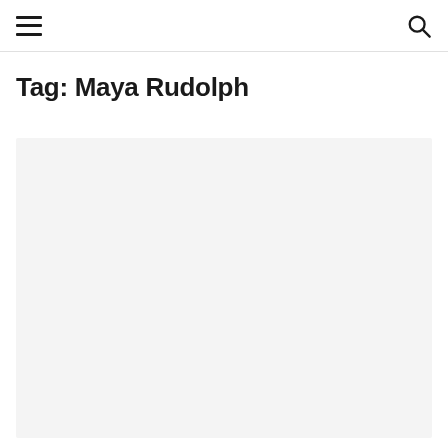Navigation header with menu and search icons
Tag: Maya Rudolph
[Figure (photo): Large light gray placeholder image area below the tag title]